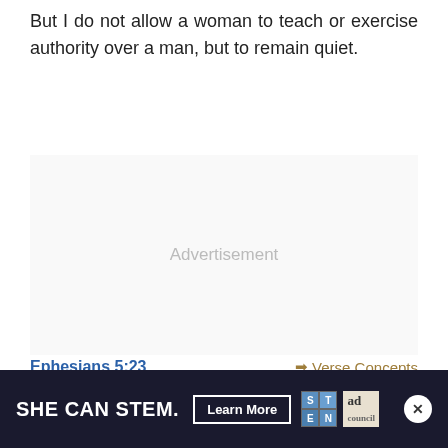But I do not allow a woman to teach or exercise authority over a man, but to remain quiet.
Advertisement
Ephesians 5:23
Verse Concepts
For the husband is the head of the wife, as Christ also is the head of the church, He Himself being the Savior of th
[Figure (infographic): Bottom advertisement banner: SHE CAN STEM. with Learn More button, STEN and ad council logos, and close button]